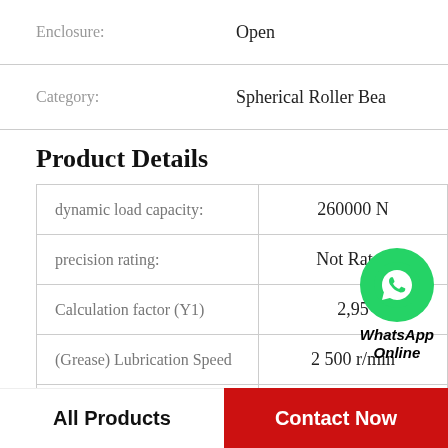Enclosure: Open
Category: Spherical Roller Bea
Product Details
|  |  |
| --- | --- |
| dynamic load capacity: | 260000 N |
| precision rating: | Not Rated |
| Calculation factor (Y1) | 2,95 |
| (Grease) Lubrication Speed | 2 500 r/min |
| ... | ... |
[Figure (logo): WhatsApp Online green phone icon with bold italic text 'WhatsApp Online']
All Products    Contact Now